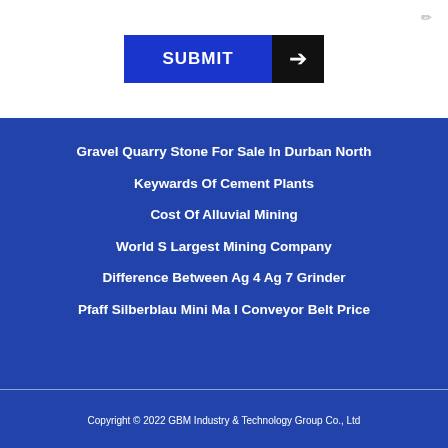[Figure (other): Submit button with blue background and black arrow section]
Gravel Quarry Stone For Sale In Durban North
Keywards Of Cement Plants
Cost Of Alluvial Mining
World S Largest Mining Company
Difference Between Ag 4 Ag 7 Grinder
Pfaff Silberblau Mini Ma I Conveyor Belt Price
Copyright © 2022 GBM Industry & Technology Group Co., Ltd